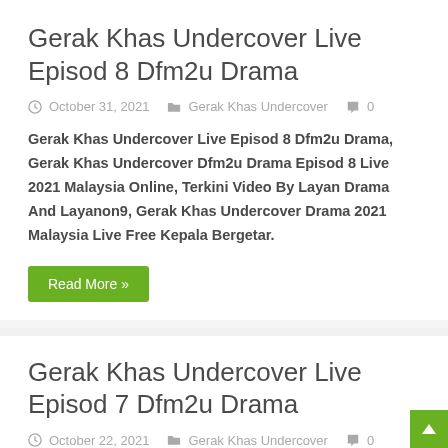Gerak Khas Undercover Live Episod 8 Dfm2u Drama
October 31, 2021   Gerak Khas Undercover   0
Gerak Khas Undercover Live Episod 8 Dfm2u Drama, Gerak Khas Undercover Dfm2u Drama Episod 8 Live 2021 Malaysia Online, Terkini Video By Layan Drama And Layanon9, Gerak Khas Undercover Drama 2021 Malaysia Live Free Kepala Bergetar.
Read More »
Gerak Khas Undercover Live Episod 7 Dfm2u Drama
October 22, 2021   Gerak Khas Undercover   0
Gerak Khas Undercover Live Episod 7 Dfm2u Drama, Gerak Khas Undercover Dfm2u Drama Episod 7 Live 2021 Malaysia Online, Terkini Video By Layan Drama And Layanon9, Gerak Khas Undercover